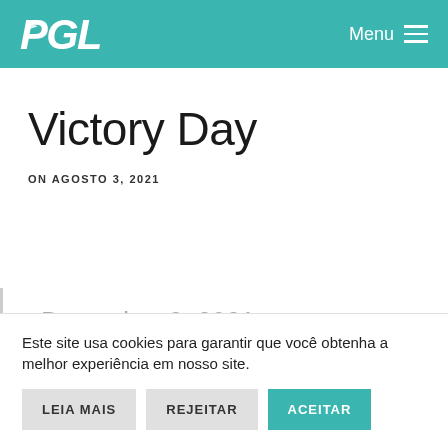PGL — Menu
Victory Day
ON AGOSTO 3, 2021
Dezembro 2, 2021
Este site usa cookies para garantir que você obtenha a melhor experiência em nosso site.
LEIA MAIS   REJEITAR   ACEITAR